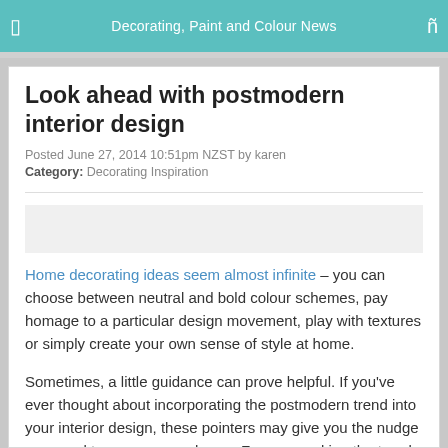Decorating, Paint and Colour News
Look ahead with postmodern interior design
Posted June 27, 2014 10:51pm NZST by karen
Category: Decorating Inspiration
Home decorating ideas seem almost infinite – you can choose between neutral and bold colour schemes, pay homage to a particular design movement, play with textures or simply create your own sense of style at home.
Sometimes, a little guidance can prove helpful. If you've ever thought about incorporating the postmodern trend into your interior design, these pointers may give you the nudge you need to revamp your home. From unpacking the trend itself to selecting the right furniture, we've got all the tips.